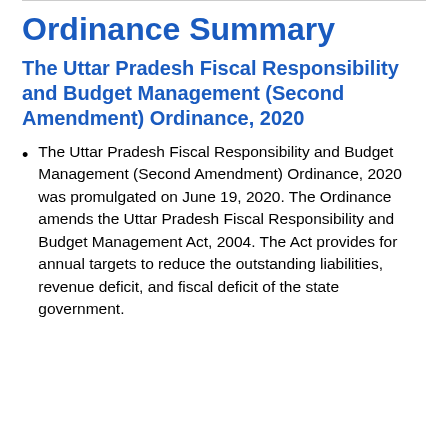Ordinance Summary
The Uttar Pradesh Fiscal Responsibility and Budget Management (Second Amendment) Ordinance, 2020
The Uttar Pradesh Fiscal Responsibility and Budget Management (Second Amendment) Ordinance, 2020 was promulgated on June 19, 2020.  The Ordinance amends the Uttar Pradesh Fiscal Responsibility and Budget Management Act, 2004.  The Act provides for annual targets to reduce the outstanding liabilities, revenue deficit, and fiscal deficit of the state government.